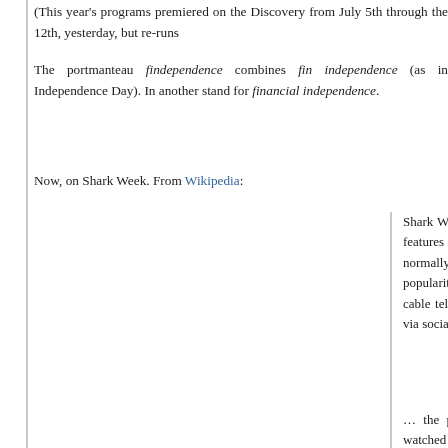(This year's programs premiered on the Discovery from July 5th through the 12th, yesterday, but re-runs
The portmanteau findependence combines fin independence (as in Independence Day). In another stand for financial independence.
Now, on Shark Week. From Wikipedia:
Shark Week is an annual, week-long programm the Discovery Channel which features shark real and fictional. Shark Week originally premie Held annually, normally in July or August, it wa to raise awareness and respect for sharks. popularity and became a hit on the Discovery it has been the longest-running cable televisio in history. Now broadcast in over 72 count promoted heavily via social networks like Faceb
… the program Megalodon: The Monster Sha became one of the most watched programs in primarily for the controversy and backlash mockumentary was based on an ancient megalodon, which is now long extinct. The a fueled an uproar by viewers and by the scien community. It eventually started a Discovery C then Discovery has increasingly come unde science, pushing dubious theories, creatio